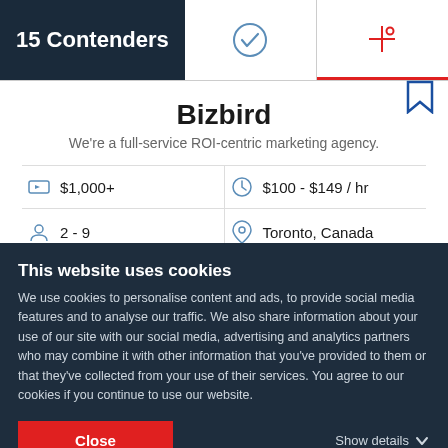15 Contenders
Bizbird
We're a full-service ROI-centric marketing agency.
|  |  |  |  |
| --- | --- | --- | --- |
| [tag icon] | $1,000+ | [clock icon] | $100 - $149 / hr |
| [person icon] | 2 - 9 | [location icon] | Toronto, Canada |
Ability to deliver    21.4
[Figure (bar-chart): Partially visible horizontal bar chart showing delivery component scores including values 16.2, 0, 4.5]
This website uses cookies
We use cookies to personalise content and ads, to provide social media features and to analyse our traffic. We also share information about your use of our site with our social media, advertising and analytics partners who may combine it with other information that you've provided to them or that they've collected from your use of their services. You agree to our cookies if you continue to use our website.
Close    Show details